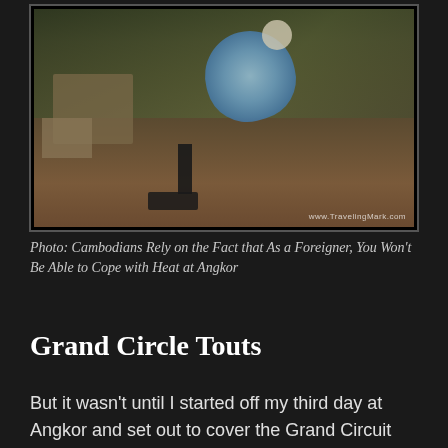[Figure (photo): A person holding a large light blue umbrella at an ancient temple site (Angkor), wearing a white cap, with stone ruins and trees in the background. Watermark: www.TravelingMark.com]
Photo: Cambodians Rely on the Fact that As a Foreigner, You Won't Be Able to Cope with Heat at Angkor
Grand Circle Touts
But it wasn't until I started off my third day at Angkor and set out to cover the Grand Circuit